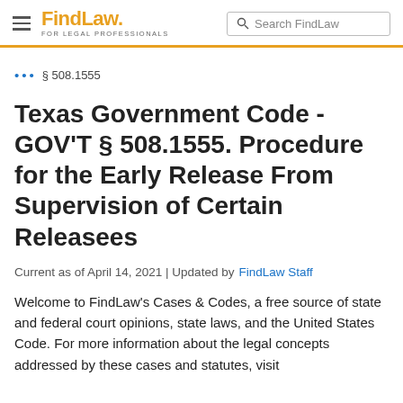FindLaw FOR LEGAL PROFESSIONALS | Search FindLaw
… § 508.1555
Texas Government Code - GOV'T § 508.1555. Procedure for the Early Release From Supervision of Certain Releasees
Current as of April 14, 2021 | Updated by FindLaw Staff
Welcome to FindLaw's Cases & Codes, a free source of state and federal court opinions, state laws, and the United States Code. For more information about the legal concepts addressed by these cases and statutes, visit